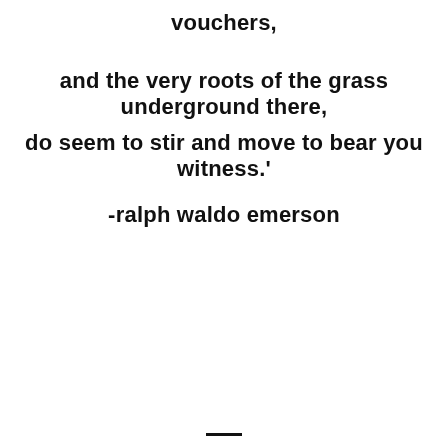vouchers,
and the very roots of the grass underground there,
do seem to stir and move to bear you witness.'
-ralph waldo emerson
—